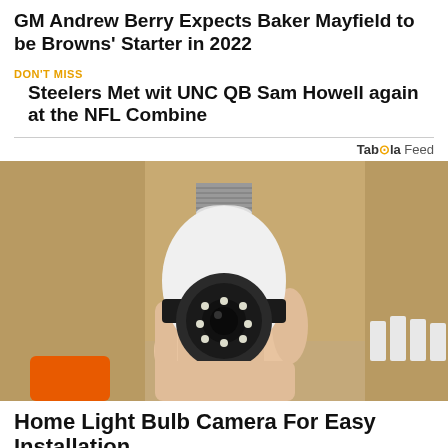GM Andrew Berry Expects Baker Mayfield to be Browns' Starter in 2022
DON'T MISS
Steelers Met wit UNC QB Sam Howell again at the NFL Combine
Taboola Feed
[Figure (photo): A hand holding a white light bulb-shaped security camera with a black lens and LED lights around it, photographed against a wooden shelf background.]
Home Light Bulb Camera For Easy Installation